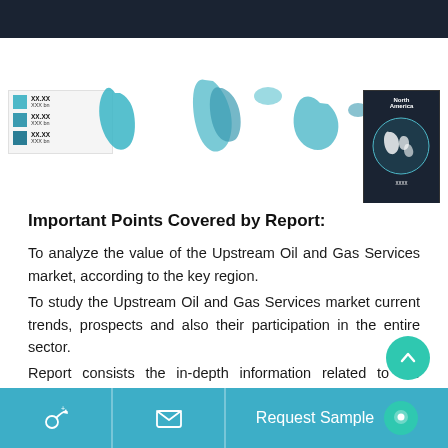[Figure (map): World map choropleth showing Upstream Oil and Gas Services market data by region, with teal/blue color scale legend on left and North America inset on right. Top dark header bar visible.]
Important Points Covered by Report:
To analyze the value of the Upstream Oil and Gas Services market, according to the key region.
To study the Upstream Oil and Gas Services market current trends, prospects and also their participation in the entire sector.
Report consists the in-depth information related to the region/countries, major key players, curr...
Request Sample